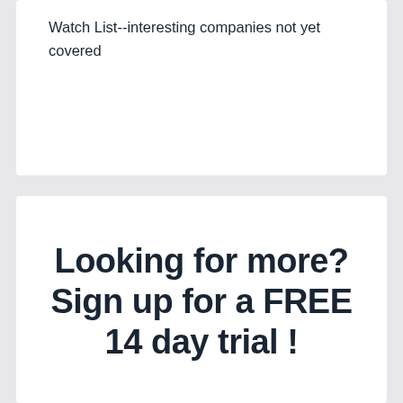Watch List--interesting companies not yet covered
Looking for more? Sign up for a FREE 14 day trial !
We invite you to sign up for a 14 day free trial of 5i Research! Experience all the benefits and tools we have to offer; stock research, model portfolios, Q&A with our experts, and so much more. Join a community of like-minded investors today!